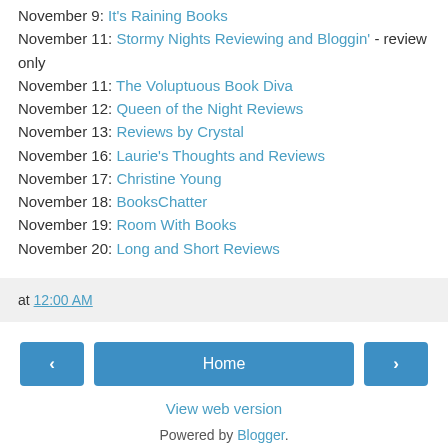November 9: It's Raining Books
November 11: Stormy Nights Reviewing and Bloggin' - review only
November 11: The Voluptuous Book Diva
November 12: Queen of the Night Reviews
November 13: Reviews by Crystal
November 16: Laurie's Thoughts and Reviews
November 17: Christine Young
November 18: BooksChatter
November 19: Room With Books
November 20: Long and Short Reviews
at 12:00 AM
Home
View web version
Powered by Blogger.